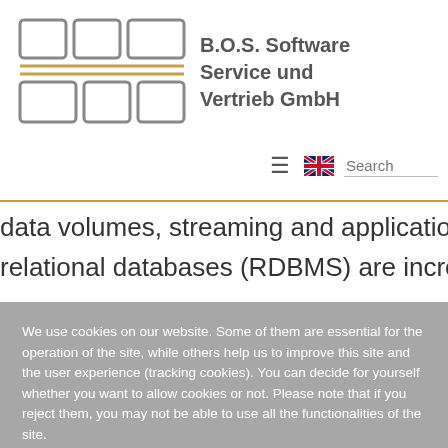[Figure (logo): B.O.S. Software Service und Vertrieb GmbH logo with geometric square icon and company name text]
data volumes, streaming and applications, traditional relational databases (RDBMS) are increasingly reaching
We use cookies on our website. Some of them are essential for the operation of the site, while others help us to improve this site and the user experience (tracking cookies). You can decide for yourself whether you want to allow cookies or not. Please note that if you reject them, you may not be able to use all the functionalities of the site.
Ok
Decline
More information